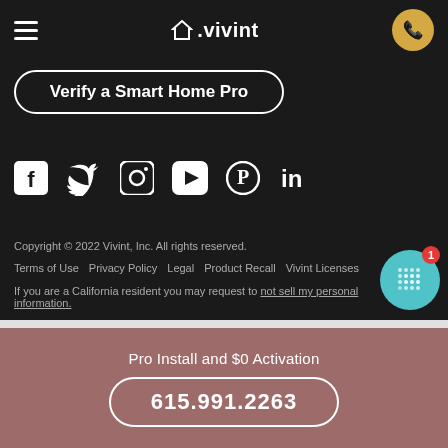[Figure (screenshot): Vivint website header with hamburger menu, Vivint logo with house icon, and gold phone button]
Verify a Smart Home Pro
[Figure (infographic): Social media icons row: Facebook, Twitter, Instagram, YouTube, Pinterest, LinkedIn — white icons on dark background]
Copyright © 2022 Vivint, Inc. All rights reserved.
Terms of Use   Privacy Policy   Legal   Product Recall   Vivint Licenses
If you are a California resident you may request to not sell my personal information.
Pro Install and $0 Activation
615.991.2263